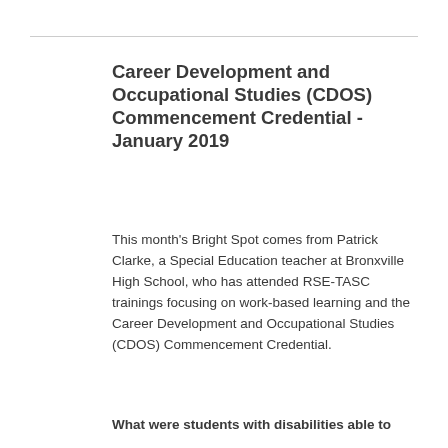Career Development and Occupational Studies (CDOS) Commencement Credential - January 2019
This month's Bright Spot comes from Patrick Clarke, a Special Education teacher at Bronxville High School, who has attended RSE-TASC trainings focusing on work-based learning and the Career Development and Occupational Studies (CDOS) Commencement Credential.
What were students with disabilities able to